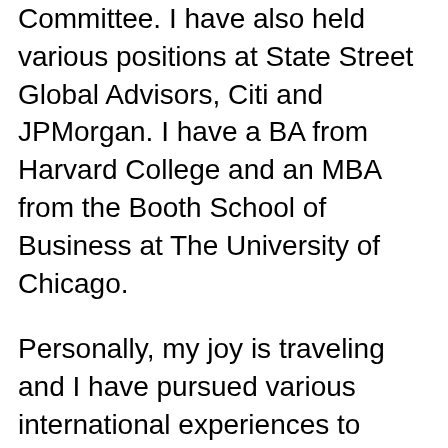Committee. I have also held various positions at State Street Global Advisors, Citi and JPMorgan. I have a BA from Harvard College and an MBA from the Booth School of Business at The University of Chicago.
Personally, my joy is traveling and I have pursued various international experiences to learn about people and cultures all over the world. I have visited 53 countries (still counting) and have lived in London, Sydney, San Francisco, Shanghai, Chicago, Bangalore, Hong Kong and Boston. I consider myself a global citizen and look forward to connecting with you wherever you live in the world.
I would love the opportunity to speak at your company, your women's professional network or your